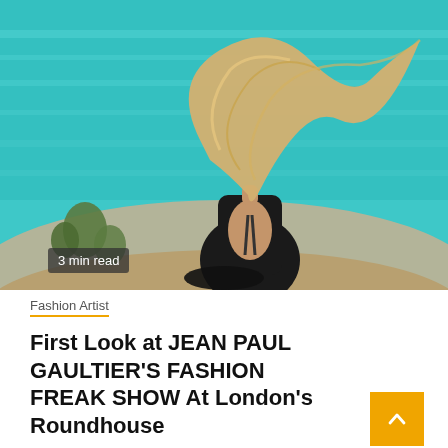[Figure (photo): Woman with long blonde hair blowing in the wind, seen from behind, wearing a black backless dress, sitting near turquoise water with rocks and desert plants in the background.]
3 min read
Fashion Artist
First Look at JEAN PAUL GAULTIER'S FASHION FREAK SHOW At London's Roundhouse
1 month ago   Sylvia A. Huff
Eccentric, scandalous, provocative, exuberant, and